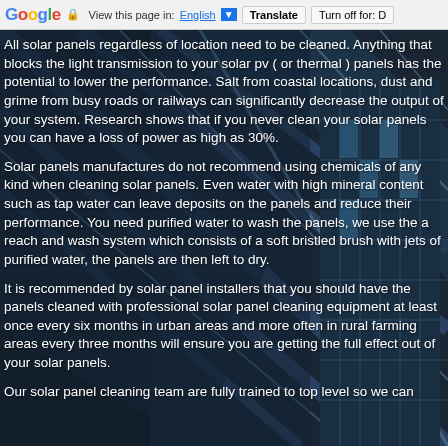Google — View this page in: English | Translate | Turn off for: D
[Figure (photo): Background photo of modern glass skyscraper buildings shot from below at an angle, showing steel and glass facade with blue tones]
All solar panels regardless of location need to be cleaned. Anything that blocks the light transmission to your solar pv ( or thermal ) panels has the potential to lower the performance. Salt from coastal locations, dust and grime from busy roads or railways can significantly decrease the output of your system. Research shows that if you never clean your solar panels you can have a loss of power as high as 30%.
Solar panels manufactures do not recommend using chemicals of any kind when cleaning solar panels. Even water with high mineral content such as tap water can leave deposits on the panels and reduce their performance. You need purified water to wash the panels, we use the a reach and wash system which consists of a soft bristled brush with jets of purified water, the panels are then left to dry.
It is recommended by solar panel installers that you should have the panels cleaned with professional solar panel cleaning equipment at least once every six months in urban areas and more often in rural farming areas every three months will ensure you are getting the full effect out of your solar panels.
Our solar panel cleaning team are fully trained to top level so we can